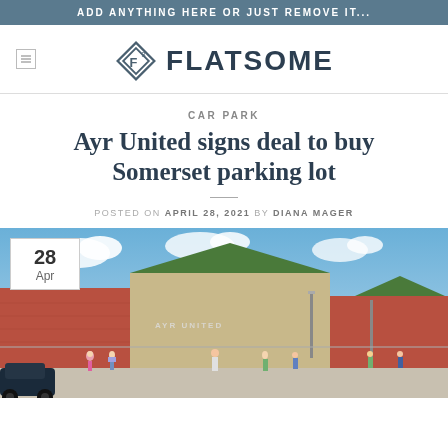ADD ANYTHING HERE OR JUST REMOVE IT...
[Figure (logo): Flatsome logo with diamond F3 icon and FLATSOME text]
CAR PARK
Ayr United signs deal to buy Somerset parking lot
POSTED ON APRIL 28, 2021 BY DIANA MAGER
[Figure (photo): Architectural rendering of Ayr United stadium with brick buildings and green roof, people walking in foreground, date badge showing 28 Apr in top left corner]